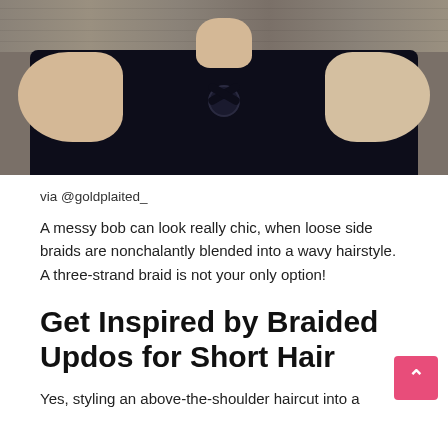[Figure (photo): Photo of a person wearing a dark navy floral dress with pink floral pattern, showing neck and shoulders area, stone wall background visible at top]
via @goldplaited_
A messy bob can look really chic, when loose side braids are nonchalantly blended into a wavy hairstyle. A three-strand braid is not your only option!
Get Inspired by Braided Updos for Short Hair
Yes, styling an above-the-shoulder haircut into a